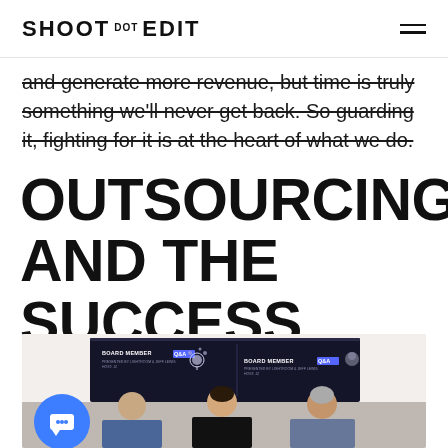SHOOT DOT EDIT
and generate more revenue, but time is truly something we'll never get back. So guarding it, fighting for it is at the heart of what we do.
OUTSOURCING AND THE SUCCESS MINDSET
[Figure (photo): Three people sitting in front of a large screen displaying 'BOARD MEMBER Q&A' presentations, in an office meeting setting. A blue chat bubble icon is visible in the lower left.]